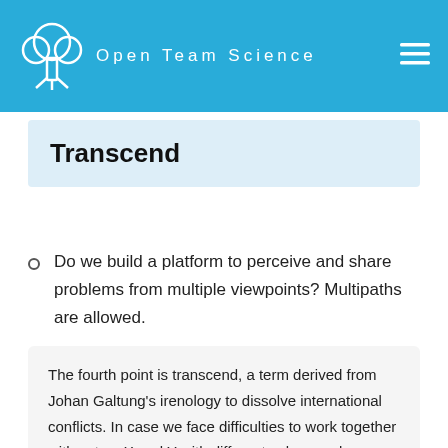Open Team Science
Transcend
Do we build a platform to perceive and share problems from multiple viewpoints? Multipaths are allowed.
The fourth point is transcend, a term derived from Johan Galtung's irenology to dissolve international conflicts. In case we face difficulties to work together with actors X and Y with different values and thoughts, we should seek and build a platform Z to perceive and share problems with